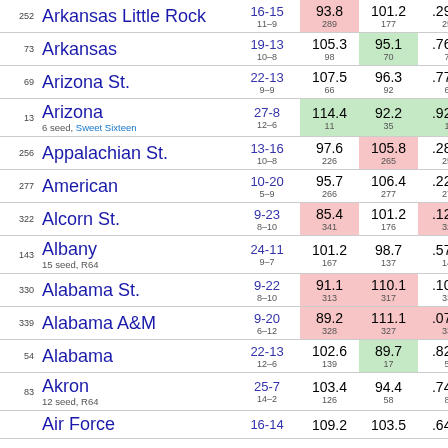| Rank | Team | Record | Off PPG | Def PPG | Pct |
| --- | --- | --- | --- | --- | --- |
| 252 | Arkansas Little Rock | 16-15
11–9 | 93.8
289 | 101.2
177 | .2943
252 |
| 73 | Arkansas | 19-13
10–8 | 105.3
98 | 95.1
70 | .7643
73 |
| 69 | Arizona St. | 22-13
9–9 | 107.5
66 | 96.3
92 | .7798
69 |
| 13 | Arizona
6 seed, Sweet Sixteen | 27-8
12–6 | 114.4
11 | 92.2
35 | .9229
13 |
| 256 | Appalachian St. | 13-16
10–8 | 97.6
226 | 105.8
265 | .2822
256 |
| 277 | American | 10-20
5–9 | 95.7
266 | 106.4
277 | .2266
277 |
| 322 | Alcorn St. | 9-23
8–10 | 85.4
341 | 101.2
176 | .1234
322 |
| 143 | Albany
15 seed, R64 | 24-11
9–7 | 101.2
167 | 98.7
137 | .5722
143 |
| 330 | Alabama St. | 9-22
8–10 | 91.1
313 | 110.1
317 | .1023
330 |
| 339 | Alabama A&M | 9-20
6–12 | 89.2
328 | 111.1
327 | .0740
339 |
| 54 | Alabama | 22-13
12–6 | 102.6
139 | 89.7
17 | .8243
54 |
| 83 | Akron
12 seed, R64 | 25-7
14–2 | 103.4
126 | 94.4
58 | .7402
83 |
|  | Air Force | 16-14 | 109.2 | 103.5 | .6481 |